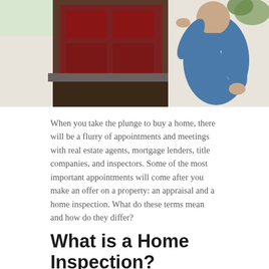[Figure (photo): A man in a blue shirt holding rolled-up blueprints or documents, standing in front of a house with a red door and dark wood paneling exterior.]
When you take the plunge to buy a home, there will be a flurry of appointments and meetings with real estate agents, mortgage lenders, title companies, and inspectors. Some of the most important appointments will come after you make an offer on a property: an appraisal and a home inspection. What do these terms mean and how do they differ?
What is a Home Inspection?
A home inspection is a general examination of the property for the buyer's protection and peace of mind. A trained professional is hired to inspect the structure and systems, including the foundation, electrical, plumbing, roof, and HVAC. Any building code violations or other